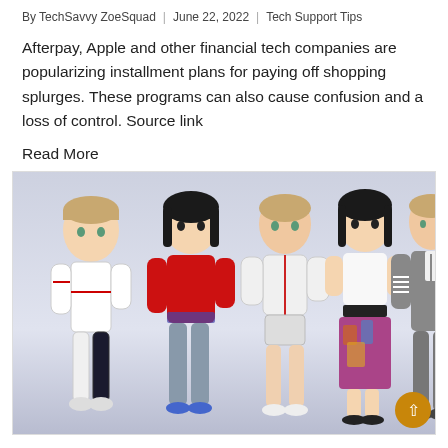By TechSavvy ZoeSquad | June 22, 2022 | Tech Support Tips
Afterpay, Apple and other financial tech companies are popularizing installment plans for paying off shopping splurges. These programs can also cause confusion and a loss of control. Source link
Read More
[Figure (photo): Six 3D cartoon avatars standing in a row against a light purple/grey background. Characters include male and female figures wearing various outfits: white racing suit, red hoodie with grey jeans, white zip-up hoodie with shorts, white tank top with colorful skirt, grey suit, and dark outfit. The image is partially cropped on the right side.]